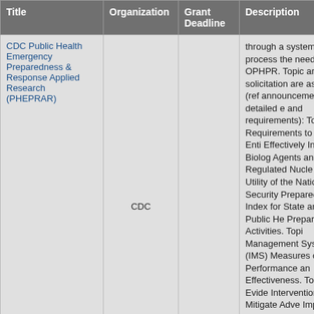| Title | Organization | Grant Deadline | Description |
| --- | --- | --- | --- |
| CDC Public Health Emergency Preparedness & Response Applied Research (PHEPRAR) | CDC |  | through a systematic process the needs of OPHPR. Topic areas of this solicitation are as follows (refer to the announcement for detailed eligibility and requirements): Topic 1: Data Requirements to Ensure Entities Have Effectively Inactivated Biological Agents and Regulated Nucleic Acids. Topic 2: Utility of the National Health Security Preparedness Index (NHSPI) for State and Local Public Health Preparedness Activities. Topic 3: Incident Management Systems (IMS) as Measures of Performance and Effectiveness. Topic 4: Evidence-Based Interventions to Mitigate Adverse Health Impacts on At-Risk Populations. Topic 5: Identifying Information Needs and Communication Channels for At-Risk Populations during E... |
|  |  |  | Previous Deadline: 06/01/2... purpose of the Children's He... |